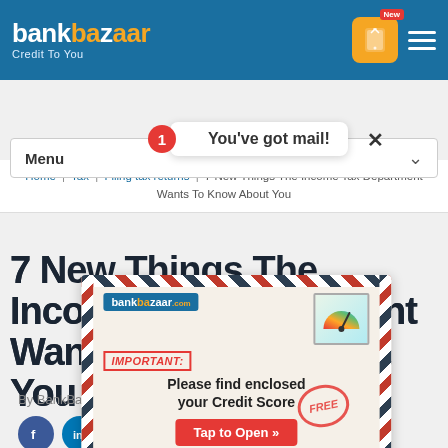bankbazaar — Credit To You
Home | Tax | Filing tax returns | 7 New Things The Income Tax Department Wants To Know About You
Menu
[Figure (screenshot): Popup notification showing envelope ad. Bubble says 'You've got mail!' with red badge showing '1'. Below is an envelope-style ad from bankbazaar.com with text: IMPORTANT: Please find enclosed your Credit Score FREE. Tap to Open button.]
7 New Things The Income Tax Department Wants To Know About You
By BankBazaar | May 16, 2018